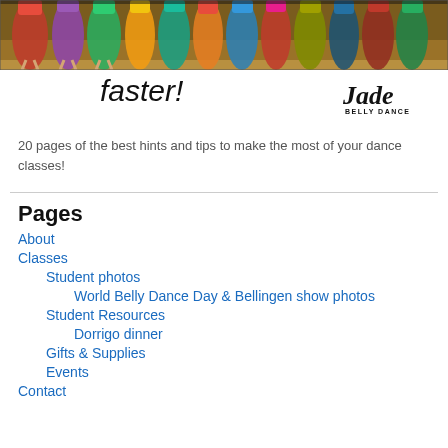[Figure (photo): A strip photo showing dancers in colorful costumes performing belly dance on a wooden floor stage]
faster!
[Figure (logo): Jade Belly Dance logo with stylized italic text]
20 pages of the best hints and tips to make the most of your dance classes!
Pages
About
Classes
Student photos
World Belly Dance Day & Bellingen show photos
Student Resources
Dorrigo dinner
Gifts & Supplies
Events
Contact